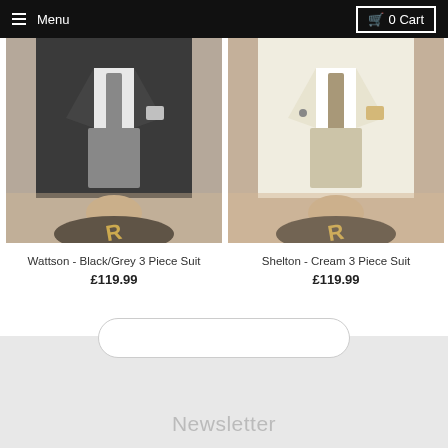Menu  0 Cart
[Figure (photo): Man wearing Wattson Black/Grey 3 Piece Suit with patterned tie and pocket square, standing on branded floor mat]
Wattson - Black/Grey 3 Piece Suit
£119.99
[Figure (photo): Man wearing Shelton Cream 3 Piece Suit with patterned tie and pocket square, standing on branded floor mat]
Shelton - Cream 3 Piece Suit
£119.99
Newsletter